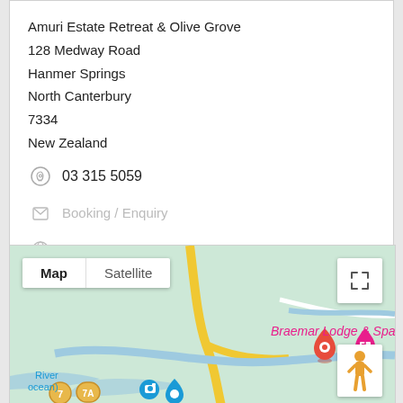Amuri Estate Retreat & Olive Grove
128 Medway Road
Hanmer Springs
North Canterbury
7334
New Zealand
03 315 5059
Booking / Enquiry
Visit Website
[Figure (map): Google Map showing location near Hanmer Springs, North Canterbury, New Zealand. Map/Satellite toggle visible. A red location pin marks the property. 'Braemar Lodge & Spa' labeled nearby with a pink hotel marker. Road numbers 7 and 7A visible at bottom left. 'River ocean)' label visible at left. Pegman and fullscreen expand buttons shown.]